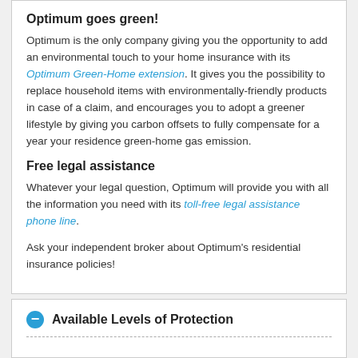Optimum goes green!
Optimum is the only company giving you the opportunity to add an environmental touch to your home insurance with its Optimum Green-Home extension. It gives you the possibility to replace household items with environmentally-friendly products in case of a claim, and encourages you to adopt a greener lifestyle by giving you carbon offsets to fully compensate for a year your residence green-home gas emission.
Free legal assistance
Whatever your legal question, Optimum will provide you with all the information you need with its toll-free legal assistance phone line.
Ask your independent broker about Optimum's residential insurance policies!
Available Levels of Protection